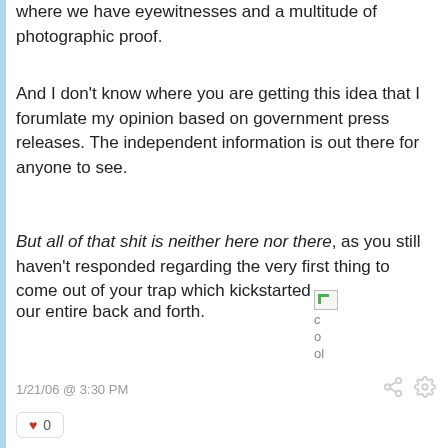where we have eyewitnesses and a multitude of photographic proof.
And I don't know where you are getting this idea that I forumlate my opinion based on government press releases. The independent information is out there for anyone to see.
But all of that shit is neither here nor there, as you still haven't responded regarding the very first thing to come out of your trap which kickstarted [broken image] c o ol our entire back and forth.
1/21/06 @ 3:30 PM
0